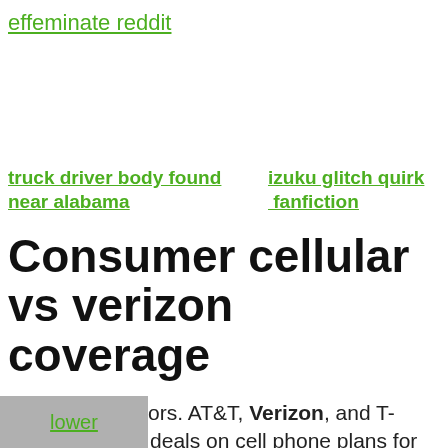effeminate reddit
truck driver body found near alabama    izuku glitch quirk fanfiction
Consumer cellular vs verizon coverage
Calling All Seniors. AT&T, Verizon, and T-Mobile all offer deals on cell phone plans for seniors, and some smaller carriers provide special services and more ways to save. T-Mobile's lstripped three senior cell phone plans offer the biggest
lower